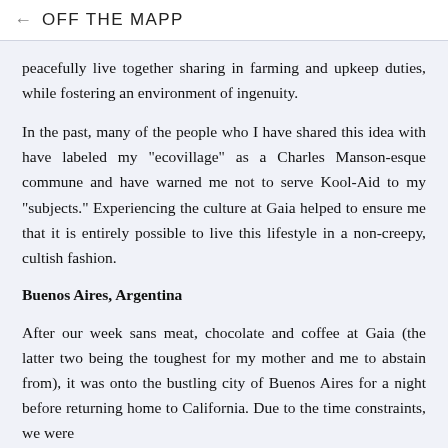← OFF THE MAPP
peacefully live together sharing in farming and upkeep duties, while fostering an environment of ingenuity.
In the past, many of the people who I have shared this idea with have labeled my "ecovillage" as a Charles Manson-esque commune and have warned me not to serve Kool-Aid to my "subjects." Experiencing the culture at Gaia helped to ensure me that it is entirely possible to live this lifestyle in a non-creepy, cultish fashion.
Buenos Aires, Argentina
After our week sans meat, chocolate and coffee at Gaia (the latter two being the toughest for my mother and me to abstain from), it was onto the bustling city of Buenos Aires for a night before returning home to California. Due to the time constraints, we were